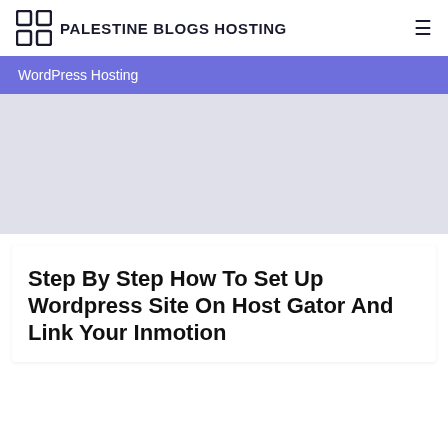PALESTINE BLOGS HOSTING
WordPress Hosting
Step By Step How To Set Up Wordpress Site On Host Gator And Link Your Inmotion